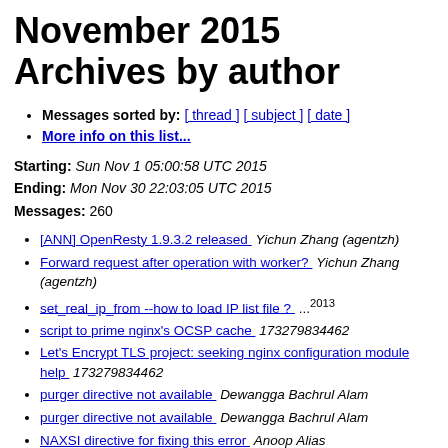November 2015 Archives by author
Messages sorted by: [ thread ] [ subject ] [ date ]
More info on this list...
Starting: Sun Nov 1 05:00:58 UTC 2015
Ending: Mon Nov 30 22:03:05 UTC 2015
Messages: 260
[ANN] OpenResty 1.9.3.2 released   Yichun Zhang (agentzh)
Forward request after operation with worker?   Yichun Zhang (agentzh)
set_real_ip_from --how to load IP list file ?   ...2013
script to prime nginx's OCSP cache   173279834462
Let's Encrypt TLS project: seeking nginx configuration module help   173279834462
purger directive not available   Dewangga Bachrul Alam
purger directive not available   Dewangga Bachrul Alam
NAXSI directive for fixing this error   Anoop Alias
PHP and CGI on UserDir   Anoop Alias
Let's Encrypt TLS project: seeking nginx configuration module help   B.B...